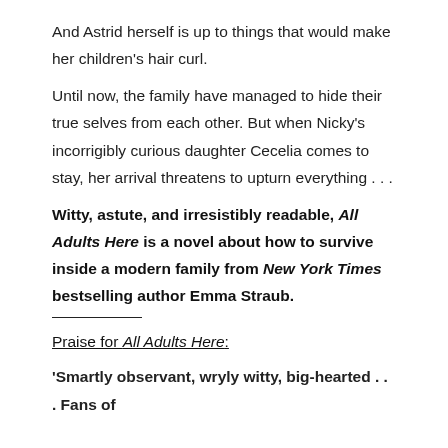And Astrid herself is up to things that would make her children's hair curl.
Until now, the family have managed to hide their true selves from each other. But when Nicky's incorrigibly curious daughter Cecelia comes to stay, her arrival threatens to upturn everything . . .
Witty, astute, and irresistibly readable, All Adults Here is a novel about how to survive inside a modern family from New York Times bestselling author Emma Straub.
___________
Praise for All Adults Here:
'Smartly observant, wryly witty, big-hearted . . . Fans of